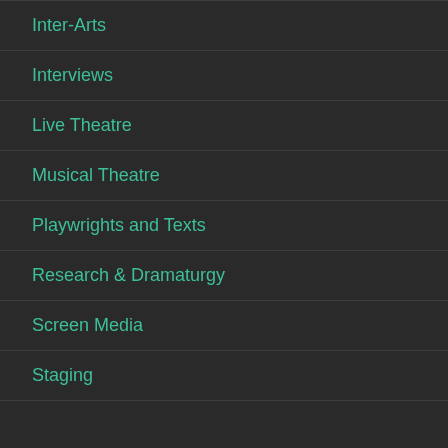Inter-Arts
Interviews
Live Theatre
Musical Theatre
Playwrights and Texts
Research & Dramaturgy
Screen Media
Staging